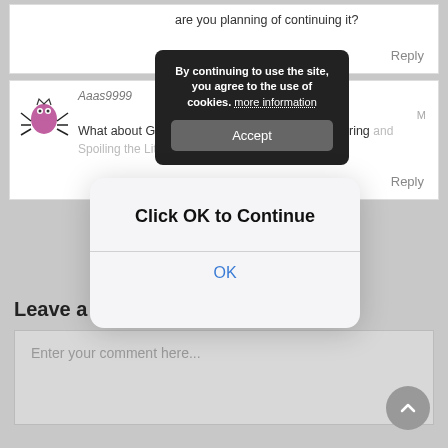are you planning of continuing it?
Reply
Aaas9999
What about Ghostly Masked Prince Xiao: Pampering and Spoiling the Little Adorable Consort??
Reply
[Figure (screenshot): Dark cookie consent banner reading: By continuing to use the site, you agree to the use of cookies. more information, with an Accept button.]
[Figure (screenshot): iOS-style modal dialog with bold text 'Click OK to Continue' and a blue 'OK' button.]
Leave a Reply
Enter your comment here...